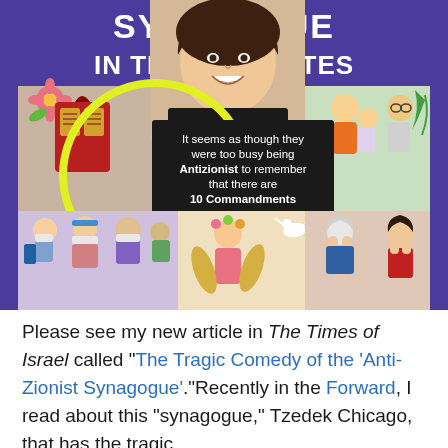[Figure (photo): Book cover image for a book about synagogues in the United States. Purple background header text partially visible reading 'SYNAGOGUE IN THE UNITED STATES'. A smiling woman's photo overlaid on illustrated book cover art featuring colorful cartoon illustrations. A yellow circle highlights part of the illustration. A dark overlay text box reads: 'It seems as though they were too busy being Antizionist to remember that there are 10 Commandments'. The illustrated panels show various figures including people in masks, people grieving, and other scenes.]
Please see my new article in The Times of Israel called "The Tragic Comedy of the 'Anti-Zionist Synagogue'."Recently in the Forward, I read about this "synagogue," Tzedek Chicago, that has the tragic